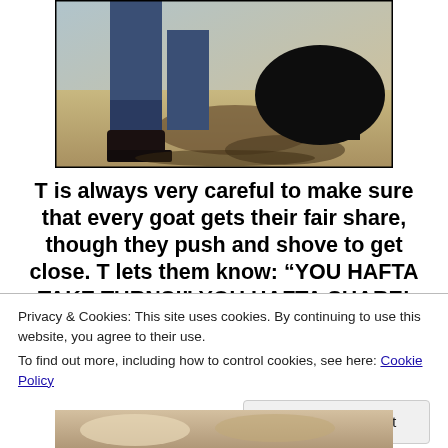[Figure (photo): Photo of person's legs in jeans and dark boots standing near a large dark animal (goat/cattle), sandy/muddy ground visible]
T is always very careful to make sure that every goat gets their fair share, though they push and shove to get close. T lets them know: “YOU HAFTA TAKE TURNS!” YOU HAFTA SHARE! STOP BEIN’
Privacy & Cookies: This site uses cookies. By continuing to use this website, you agree to their use.
To find out more, including how to control cookies, see here: Cookie Policy
Close and accept
[Figure (photo): Partial photo at bottom of page, appears to show a person with an animal]